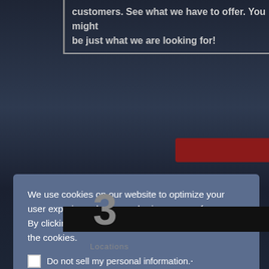[Figure (screenshot): Website screenshot background with dark blue/navy tones showing people in the background, partially obscured by a cookie consent modal overlay]
customers. See what we have to offer. You might be just what we are looking for!
We use cookies on our website to optimize your user experience by remembering your preferences. By clicking “Accept”, you consent to the use of all the cookies.
Do not sell my personal information.
Cookie settings
ACCEPT
3
Locations